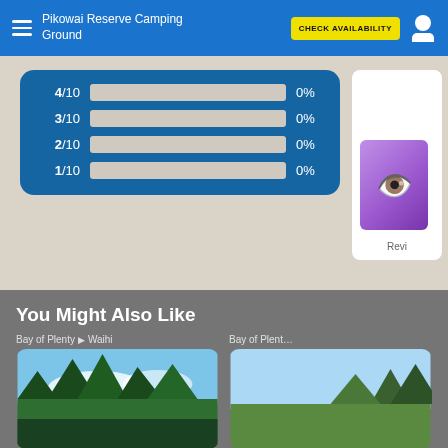Pikowai Reserve Camping Ground | CHECK AVAILABILITY
[Figure (bar-chart): Rating distribution]
You Might Also Like
Bay of Plenty ▷ Waihi
[Figure (photo): Green trees and hills with blue sky]
Bay of Plent…
[Figure (photo): Trees against blue sky, partial view]